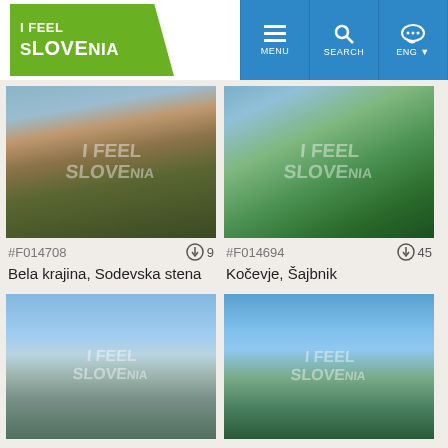[Figure (logo): I Feel Slovenia green logo]
[Figure (screenshot): Navigation bar with MENU, SEARCH, ENG buttons on blue background]
[Figure (photo): Bela krajina, Sodevska stena landscape photo with I Feel Slovenia watermark, file #F014708, 9 downloads]
#F014708
9
Bela krajina, Sodevska stena
[Figure (photo): Kočevje, Šajbnik landscape photo with I Feel Slovenia watermark, file #F014694, 45 downloads]
#F014694
45
Kočevje, Šajbnik
[Figure (photo): Aerial landscape photo with sky and valley, I Feel Slovenia watermark]
[Figure (photo): Aerial landscape photo with blue sky and green hills, I Feel Slovenia watermark]